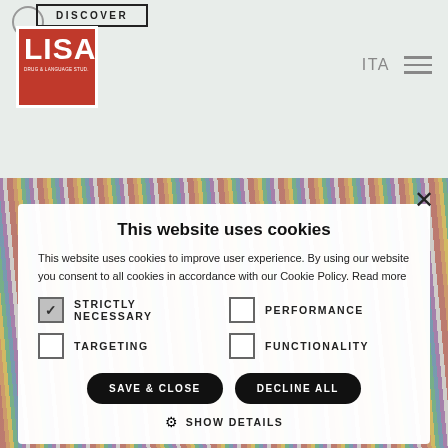[Figure (logo): LISA brand logo in red square with white text]
DISCOVER
ITA
[Figure (screenshot): Website cookie consent dialog overlay on colorful background]
This website uses cookies
This website uses cookies to improve user experience. By using our website you consent to all cookies in accordance with our Cookie Policy. Read more
STRICTLY NECESSARY
PERFORMANCE
TARGETING
FUNCTIONALITY
SAVE & CLOSE
DECLINE ALL
SHOW DETAILS